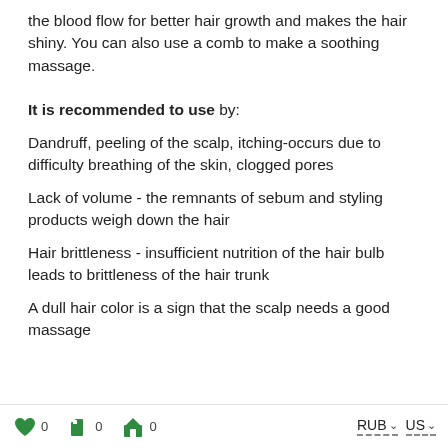the blood flow for better hair growth and makes the hair shiny. You can also use a comb to make a soothing massage.
It is recommended to use by:
Dandruff, peeling of the scalp, itching-occurs due to difficulty breathing of the skin, clogged pores
Lack of volume - the remnants of sebum and styling products weigh down the hair
Hair brittleness - insufficient nutrition of the hair bulb leads to brittleness of the hair trunk
A dull hair color is a sign that the scalp needs a good massage
0  0  0  RUB  US